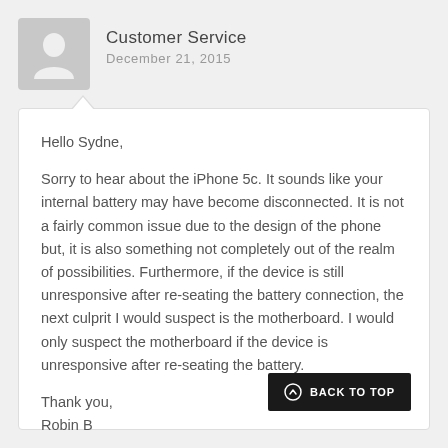[Figure (illustration): Generic user avatar icon — silhouette of a person on a grey square background]
Customer Service
December 21, 2015
Hello Sydne,

Sorry to hear about the iPhone 5c. It sounds like your internal battery may have become disconnected. It is not a fairly common issue due to the design of the phone but, it is also something not completely out of the realm of possibilities. Furthermore, if the device is still unresponsive after re-seating the battery connection, the next culprit I would suspect is the motherboard. I would only suspect the motherboard if the device is unresponsive after re-seating the battery.

Thank you,
Robin B
BACK TO TOP